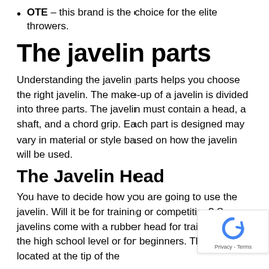OTE – this brand is the choice for the elite throwers.
The javelin parts
Understanding the javelin parts helps you choose the right javelin. The make-up of a javelin is divided into three parts. The javelin must contain a head, a shaft, and a chord grip. Each part is designed may vary in material or style based on how the javelin will be used.
The Javelin Head
You have to decide how you are going to use the javelin. Will it be for training or competition? Some javelins come with a rubber head for training use for the high school level or for beginners. The head is located at the tip of the